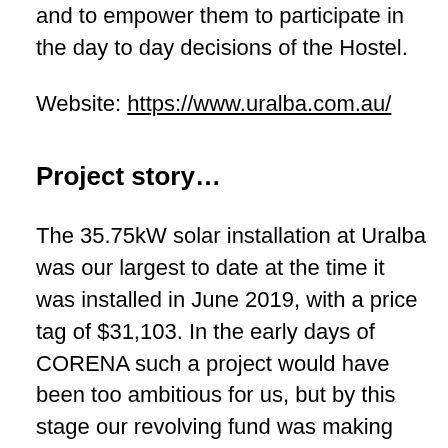and to empower them to participate in the day to day decisions of the Hostel.
Website: https://www.uralba.com.au/
Project story…
The 35.75kW solar installation at Uralba was our largest to date at the time it was installed in June 2019, with a price tag of $31,103. In the early days of CORENA such a project would have been too ambitious for us, but by this stage our revolving fund was making larger projects possible. We were able to fund this project in just 4 months despite a lull in donations at that time because loan